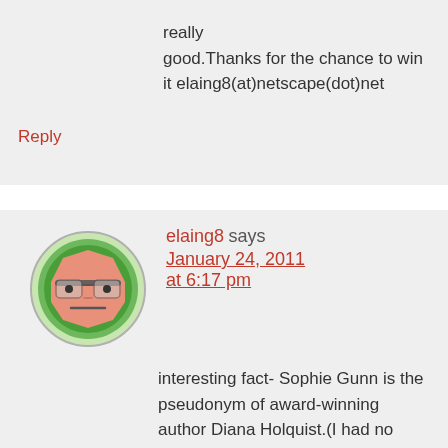really good.Thanks for the chance to win it elaing8(at)netscape(dot)net
Reply
elaing8 says January 24, 2011 at 6:17 pm
[Figure (illustration): Cartoon avatar of a grumpy-looking blocky face with glasses on a green circular background]
interesting fact- Sophie Gunn is the pseudonym of award-winning author Diana Holquist.(I had no idea)